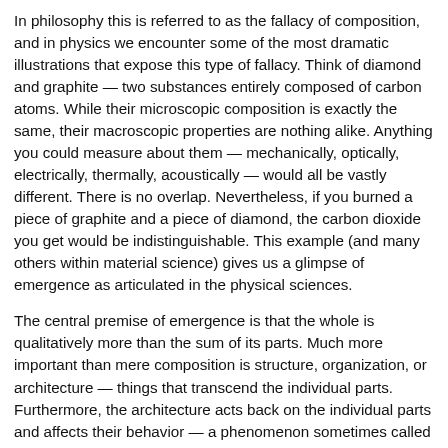In philosophy this is referred to as the fallacy of composition, and in physics we encounter some of the most dramatic illustrations that expose this type of fallacy. Think of diamond and graphite — two substances entirely composed of carbon atoms. While their microscopic composition is exactly the same, their macroscopic properties are nothing alike. Anything you could measure about them — mechanically, optically, electrically, thermally, acoustically — would all be vastly different. There is no overlap. Nevertheless, if you burned a piece of graphite and a piece of diamond, the carbon dioxide you get would be indistinguishable. This example (and many others within material science) gives us a glimpse of emergence as articulated in the physical sciences.
The central premise of emergence is that the whole is qualitatively more than the sum of its parts. Much more important than mere composition is structure, organization, or architecture — things that transcend the individual parts. Furthermore, the architecture acts back on the individual parts and affects their behavior — a phenomenon sometimes called downward control. In the graphite versus diamond example, it is the layered honeycomb structure of graphite that nudges the individual carbon atoms to manifest certain electron states,